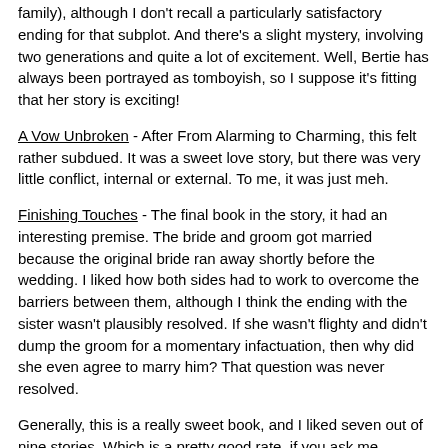family), although I don't recall a particularly satisfactory ending for that subplot. And there's a slight mystery, involving two generations and quite a lot of excitement. Well, Bertie has always been portrayed as tomboyish, so I suppose it's fitting that her story is exciting!
A Vow Unbroken - After From Alarming to Charming, this felt rather subdued. It was a sweet love story, but there was very little conflict, internal or external. To me, it was just meh.
Finishing Touches - The final book in the story, it had an interesting premise. The bride and groom got married because the original bride ran away shortly before the wedding. I liked how both sides had to work to overcome the barriers between them, although I think the ending with the sister wasn't plausibly resolved. If she wasn't flighty and didn't dump the groom for a momentary infactuation, then why did she even agree to marry him? That question was never resolved.
Generally, this is a really sweet book, and I liked seven out of nine stories. Which is a pretty good rate, if you ask me.